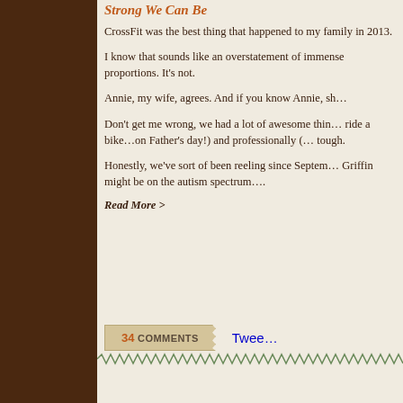Strong We Can Be
CrossFit was the best thing that happened to my family in 2013.
I know that sounds like an overstatement of immense proportions. It's not.
Annie, my wife, agrees. And if you know Annie, sh…
Don't get me wrong, we had a lot of awesome thin… ride a bike…on Father's day!) and professionally (… tough.
Honestly, we've sort of been reeling since Septem… Griffin might be on the autism spectrum….
Read More >
34 COMMENTS
Twee…